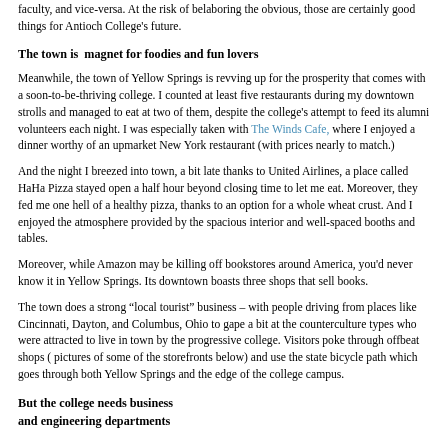faculty, and vice-versa. At the risk of belaboring the obvious, those are certainly good things for Antioch College's future.
The town is  magnet for foodies and fun lovers
Meanwhile, the town of Yellow Springs is revving up for the prosperity that comes with a soon-to-be-thriving college. I counted at least five restaurants during my downtown strolls and managed to eat at two of them, despite the college's attempt to feed its alumni volunteers each night. I was especially taken with The Winds Cafe, where I enjoyed a dinner worthy of an upmarket New York restaurant (with prices nearly to match.)
And the night I breezed into town, a bit late thanks to United Airlines, a place called HaHa Pizza stayed open a half hour beyond closing time to let me eat. Moreover, they fed me one hell of a healthy pizza, thanks to an option for a whole wheat crust. And I enjoyed the atmosphere provided by the spacious interior and well-spaced booths and tables.
Moreover, while Amazon may be killing off bookstores around America, you'd never know it in Yellow Springs. Its downtown boasts three shops that sell books.
The town does a strong “local tourist” business – with people driving from places like Cincinnati, Dayton, and Columbus, Ohio to gape a bit at the counterculture types who were attracted to live in town by the progressive college. Visitors poke through offbeat shops ( pictures of some of the storefronts below) and use the state bicycle path which goes through both Yellow Springs and the edge of the college campus.
But the college needs business
and engineering departments